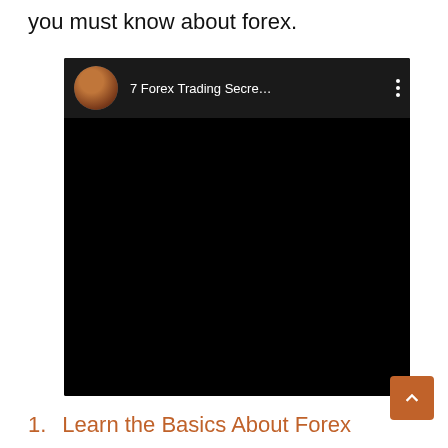you must know about forex.
[Figure (screenshot): Embedded video player with black background showing a YouTube-style video titled '7 Forex Trading Secre...' with a circular avatar thumbnail of a person in a colorful outfit, and three vertical dots menu icon.]
1.    Learn the Basics About Forex